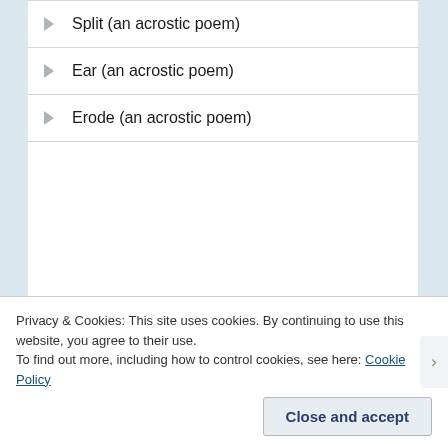Split (an acrostic poem)
Ear (an acrostic poem)
Erode (an acrostic poem)
CATEGORIES
100 Word Story
150 Word Story
200 Word Story
Privacy & Cookies: This site uses cookies. By continuing to use this website, you agree to their use. To find out more, including how to control cookies, see here: Cookie Policy
Close and accept